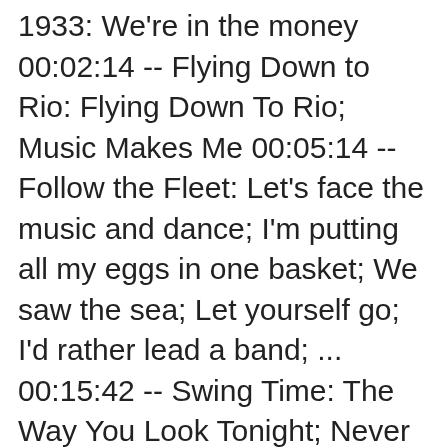1933: We're in the money 00:02:14 -- Flying Down to Rio: Flying Down To Rio; Music Makes Me 00:05:14 -- Follow the Fleet: Let's face the music and dance; I'm putting all my eggs in one basket; We saw the sea; Let yourself go; I'd rather lead a band; ... 00:15:42 -- Swing Time: The Way You Look Tonight; Never Gonna Dance; Pick Yourself Up; A Fine Romance; Bojangles of Harlem; ... 00:15:05 -- Shall we Dance: They can't take that away from me; They all laughed; I've got beginner's luck; Let's call the whole thing off; Shall we dance; ... 00:17:23 -- A Damsel in Distress: A Foggy Day; Things are looking up; Nice work if you can get it; I can't be bothered now 00:11:05 -- Carefree: Change partners; I used to be colour blind; The Yam 00:08:44 -- Of Thee I sing: Act II: Who cares? (arr. E. Sauter) 00:02:49 -- Just Like Taking Candy from a baby 00:02:47 -- Second